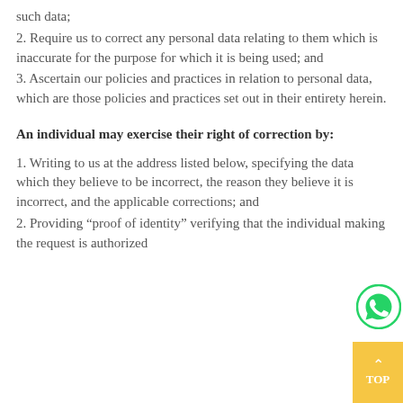such data;
2. Require us to correct any personal data relating to them which is inaccurate for the purpose for which it is being used; and
3. Ascertain our policies and practices in relation to personal data, which are those policies and practices set out in their entirety herein.
An individual may exercise their right of correction by:
1. Writing to us at the address listed below, specifying the data which they believe to be incorrect, the reason they believe it is incorrect, and the applicable corrections; and
2. Providing “proof of identity” verifying that the individual making the request is authorized